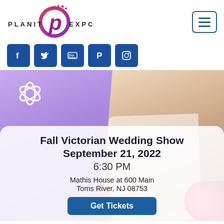[Figure (logo): PlanIt Expo logo with stylized P circle and text PLANIT EXPO]
[Figure (other): Hamburger menu button (three horizontal lines) in a rounded rectangle border]
[Figure (other): Social media icons row: Facebook, Twitter, YouTube, Pinterest, Instagram — all in dark blue rounded squares]
[Figure (photo): Hero image of brides in white wedding dresses with a purple/lavender gradient background on the left and a floral/photo background on the right. White snowflake decorative icon on the left.]
Fall Victorian Wedding Show
September 21, 2022
6:30 PM
Mathis House at 600 Main
Toms River, NJ 08753
Get Tickets